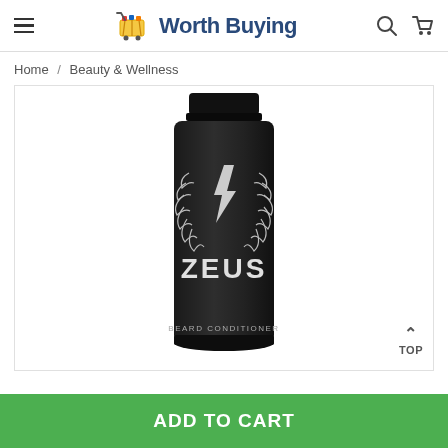Worth Buying
Home / Beauty & Wellness
[Figure (photo): Zeus Beard Conditioner product tube, black with white logo showing laurel wreath, lightning bolt, and ZEUS text with BEARD CONDITIONER label at bottom]
TOP
ADD TO CART